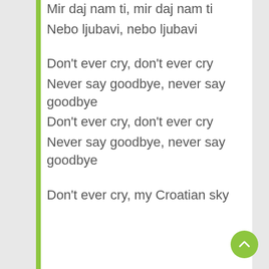Mir daj nam ti, mir daj nam ti
Nebo ljubavi, nebo ljubavi
Don't ever cry, don't ever cry
Never say goodbye, never say goodbye
Don't ever cry, don't ever cry
Never say goodbye, never say goodbye
Don't ever cry, my Croatian sky